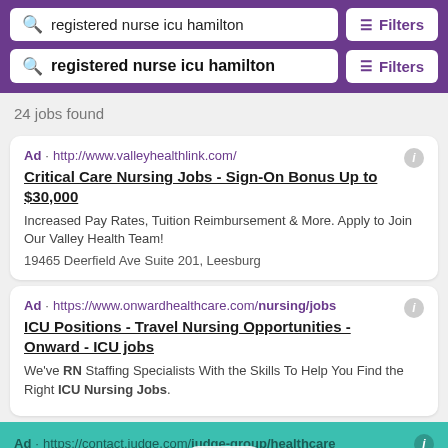[Figure (screenshot): Search bar 1 in purple header with query 'registered nurse icu hamilton' and Filters button]
[Figure (screenshot): Search bar 2 in purple header with query 'registered nurse icu hamilton' and Filters button]
24 jobs found
Ad · http://www.valleyhealthlink.com/
Critical Care Nursing Jobs - Sign-On Bonus Up to $30,000
Increased Pay Rates, Tuition Reimbursement & More. Apply to Join Our Valley Health Team!
19465 Deerfield Ave Suite 201, Leesburg
Ad · https://www.onwardhealthcare.com/nursing/jobs
ICU Positions - Travel Nursing Opportunities - Onward - ICU jobs
We've RN Staffing Specialists With the Skills To Help You Find the Right ICU Nursing Jobs.
Ad · https://contact.judge.com/judge-group/healthcare